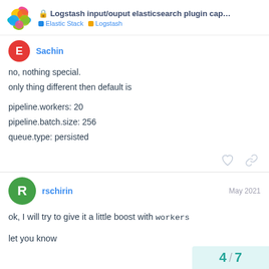Logstash input/ouput elasticsearch plugin cap... | Elastic Stack | Logstash
Sachin
no, nothing special.
only thing different then default is

pipeline.workers: 20
pipeline.batch.size: 256
queue.type: persisted
rschirin   May 2021
ok, I will try to give it a little boost with workers

let you know
4 / 7